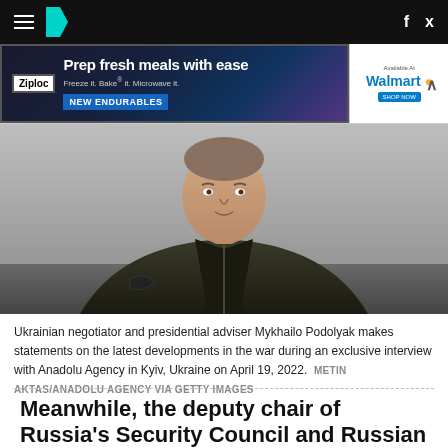HuffPost navigation bar with hamburger menu, logo, facebook and twitter icons
[Figure (photo): Advertisement banner: Ziploc - Prep fresh meals with ease. Freeze it. Bake it. Microwave it. NEW ENDURABLES. Available at Walmart.]
[Figure (photo): Ukrainian negotiator and presidential adviser Mykhailo Podolyak seated, wearing dark military-style jacket, photographed during interview]
Ukrainian negotiator and presidential adviser Mykhailo Podolyak makes statements on the latest developments in the war during an exclusive interview with Anadolu Agency in Kyiv, Ukraine on April 19, 2022. METIN AKTAS/ANADOLU AGENCY VIA GETTY IMAGES
Meanwhile, the deputy chair of Russia's Security Council and Russian former president Dmitry